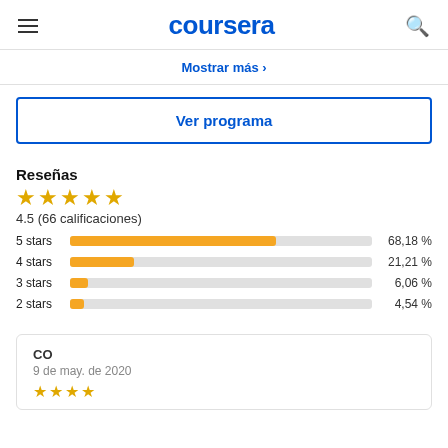coursera
Mostrar más →
Ver programa
Reseñas
4.5 (66 calificaciones)
[Figure (bar-chart): Star ratings distribution]
CO
9 de may. de 2020